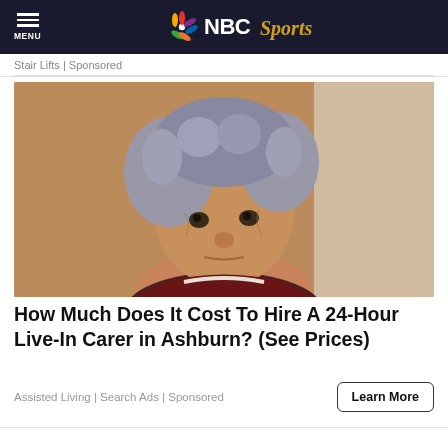NBC Sports
Stair Lifts | Sponsored
[Figure (photo): Elderly woman with curly grey hair sitting up in what appears to be a medical or care setting, looking directly at the camera. She has deeply wrinkled skin and is wearing a dark scarf.]
How Much Does It Cost To Hire A 24-Hour Live-In Carer in Ashburn? (See Prices)
Assisted Living | Search Ads | Sponsored
Learn More